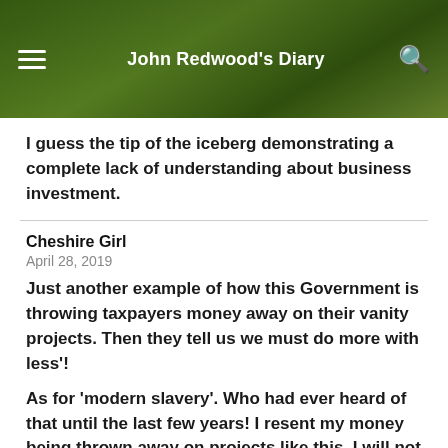John Redwood's Diary
I guess the tip of the iceberg demonstrating a complete lack of understanding about business investment.
Cheshire Girl
April 28, 2019
Just another example of how this Government is throwing taxpayers money away on their vanity projects. Then they tell us we must do more with less'!
As for ‘modern slavery’. Who had ever heard of that until the last few years! I resent my money being thrown away on projects like this. I will not be voting Conservative at the next General Election.